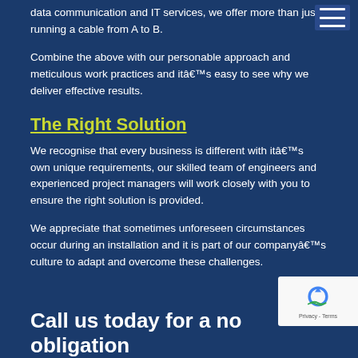data communication and IT services, we offer more than just running a cable from A to B.
Combine the above with our personable approach and meticulous work practices and itâ€™s easy to see why we deliver effective results.
The Right Solution
We recognise that every business is different with itâ€™s own unique requirements, our skilled team of engineers and experienced project managers will work closely with you to ensure the right solution is provided.
We appreciate that sometimes unforeseen circumstances occur during an installation and it is part of our companyâ€™s culture to adapt and overcome these challenges.
Call us today for a no obligation